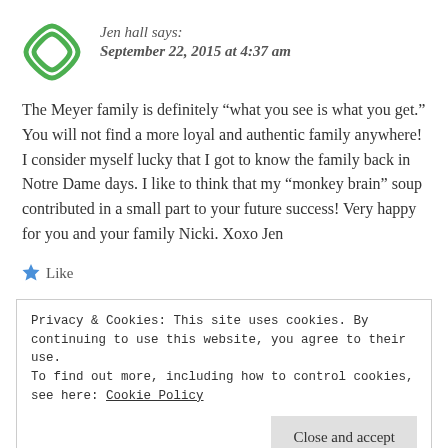Jen hall says:
September 22, 2015 at 4:37 am
The Meyer family is definitely “what you see is what you get.” You will not find a more loyal and authentic family anywhere! I consider myself lucky that I got to know the family back in Notre Dame days. I like to think that my “monkey brain” soup contributed in a small part to your future success! Very happy for you and your family Nicki. Xoxo Jen
Like
Privacy & Cookies: This site uses cookies. By continuing to use this website, you agree to their use.
To find out more, including how to control cookies, see here: Cookie Policy
Close and accept
September 22, 2015 at 10:49 am